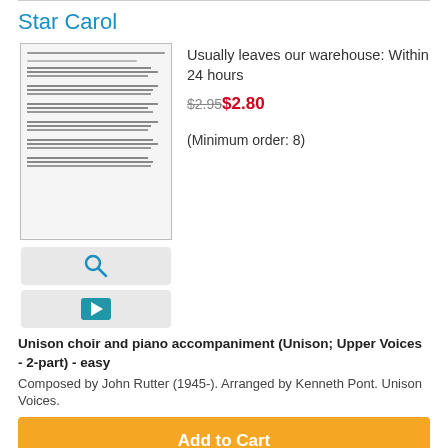Star Carol
Usually leaves our warehouse: Within 24 hours
$2.95 $2.80
(Minimum order: 8)
Unison choir and piano accompaniment (Unison; Upper Voices - 2-part) - easy
Composed by John Rutter (1945-). Arranged by Kenneth Pont. Unison Voices.
Smile
Usually leaves our warehouse: Within 24